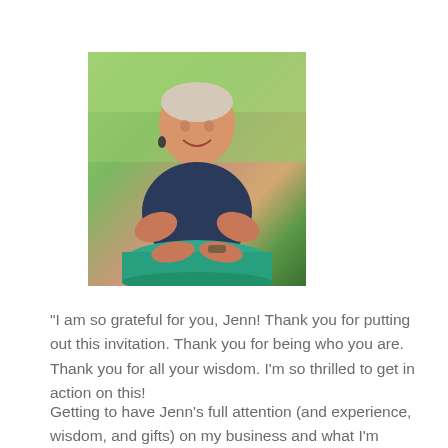[Figure (photo): A woman with short hair smiling, wearing a dark sleeveless top and bracelet, leaning on a teal/green ottoman or pouf, photographed outdoors with green foliage in the background.]
"I am so grateful for you, Jenn! Thank you for putting out this invitation. Thank you for being who you are. Thank you for all your wisdom. I'm so thrilled to get in action on this!
Getting to have Jenn's full attention (and experience, wisdom, and gifts) on my business and what I'm looking to create